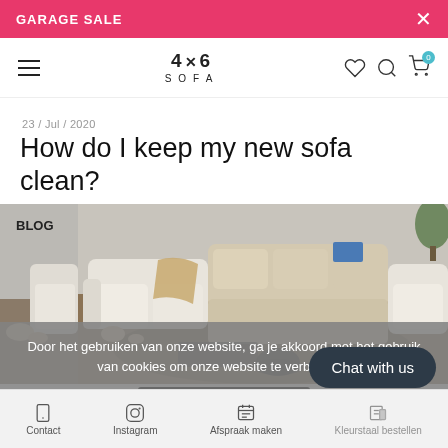GARAGE SALE
[Figure (logo): 4x6 SOFA brand logo with hamburger menu and nav icons]
23 / Jul / 2020
How do I keep my new sofa clean?
BLOG
[Figure (photo): Modern modular sofa in white and beige tones arranged in an L-shape on a wooden floor with a rug]
Door het gebruiken van onze website, ga je akkoord met het gebruik van cookies om onze website te verbeteren.
Dit bericht verbergen
Chat with us
Contact  Instagram  Afspraak maken  Kleurstaal bestellen